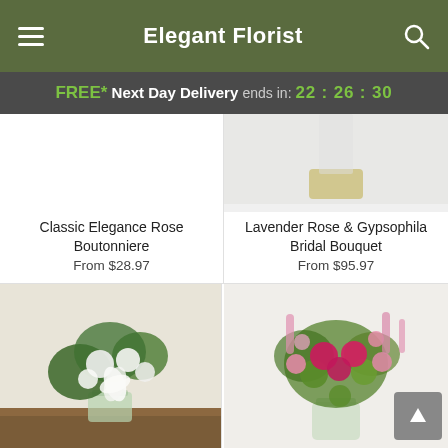Elegant Florist
FREE* Next Day Delivery ends in: 22:26:30
Classic Elegance Rose Boutonniere
From $28.97
Lavender Rose & Gypsophila Bridal Bouquet
From $95.97
[Figure (photo): White and green floral bouquet in a glass vase on a wooden surface]
[Figure (photo): Pink roses and green flowers bouquet in a glass vase]